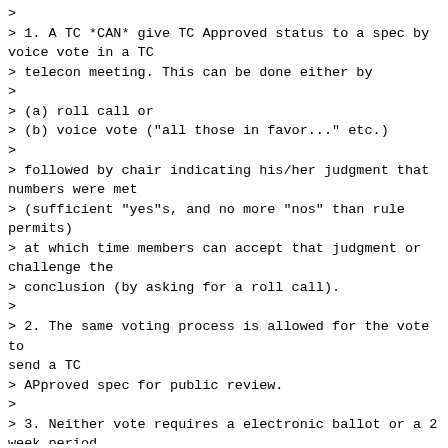>
> 1. A TC *CAN* give TC Approved status to a spec by voice vote in a TC
> telecon meeting. This can be done either by
>
> (a) roll call or
> (b) voice vote ("all those in favor..." etc.)
>
> followed by chair indicating his/her judgment that numbers were met
> (sufficient "yes"s, and no more "nos" than rule permits)
> at which time members can accept that judgment or challenge the
> conclusion (by asking for a roll call).
>
> 2. The same voting process is allowed for the vote to send a TC
> APproved spec for public review.
>
> 3. Neither vote requires a electronic ballot or a 2 week period.
>
> 4. The current process allows the "TC Approval" vote and the "Send to
> Public Review" vote to occur in the same TC telecon meeting.
>
> I have already validated my interpretation of [1] with my colleague